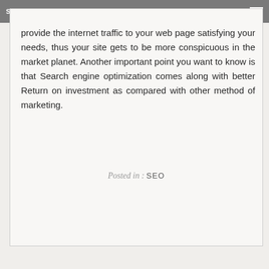Satisfying Your Needs
provide the internet traffic to your web page satisfying your needs, thus your site gets to be more conspicuous in the market planet. Another important point you want to know is that Search engine optimization comes along with better Return on investment as compared with other method of marketing.
Posted in : SEO